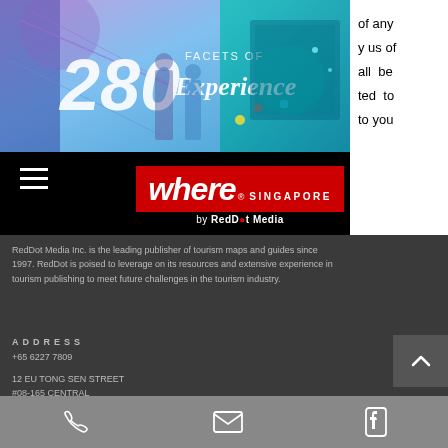[Figure (illustration): Colorful banner showing '280 Facets of Experience' promotional graphic with people and abstract designs]
of any
y us of
all be
ted to
to you
[Figure (logo): Where Singapore by RedDot Media logo on red background]
RedDot Media Inc. is the leading publisher of tourism maps and guides since 1997. RedDot is poised to leverage on its resources and extensive experience in tourism publishing to meet future challenges in the tourism industry.
ADDRESS
+65 6227 7809
12 EU TONG SEN STREET
#08-165 CENTRAL
SINGAPORE 059819
sales@reddotinc.com
[Figure (infographic): Bottom navigation bar with phone, email, and Facebook icons]